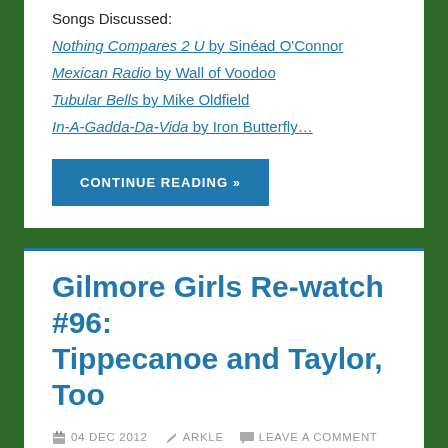Songs Discussed:
Nothing Compares 2 U by Sinéad O'Connor
Mexican Radio by Wall of Voodoo
Tubular Bells by Mike Oldfield
In-A-Gadda-Da-Vida by Iron Butterfly…
CONTINUE READING »
Gilmore Girls Re-watch #96: Tippecanoe and Taylor, Too
04 DEC 2012  ARKLE  LEAVE A COMMENT
(Click here to listen)